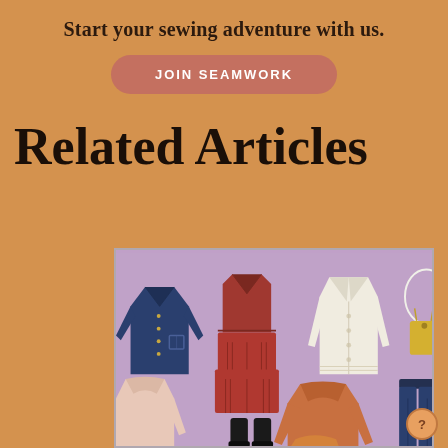Start your sewing adventure with us.
JOIN SEAMWORK
Related Articles
[Figure (illustration): Illustration of various clothing items laid flat on a purple/lavender background: a navy blue denim jacket, a dark red/rust tiered midi dress, a cream/white button-up cardigan, a yellow tote bag with circular strap, a blush pink sweater, a burnt orange/rust crew-neck sweater, navy blue trousers, and black ankle boots, plus the top of an orange item at the bottom.]